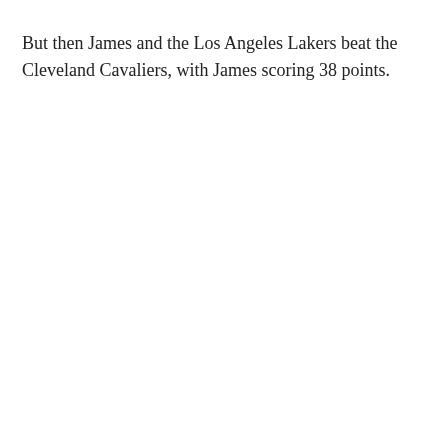But then James and the Los Angeles Lakers beat the Cleveland Cavaliers, with James scoring 38 points.